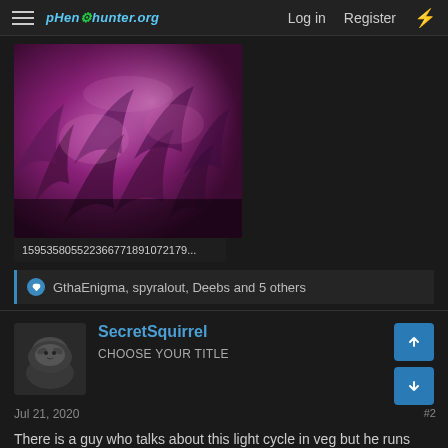pHenohunter.org  Log in  Register
[Figure (photo): Close-up photo of cannabis plants under purple/pink LED grow lights, dense foliage visible]
159535805522366771891072179...
GthaEnigma, spyralout, Deebs and 5 others
SecretSquirrel
CHOOSE YOUR TITLE
Jul 21, 2020
There is a guy who talks about this light cycle in veg but he runs